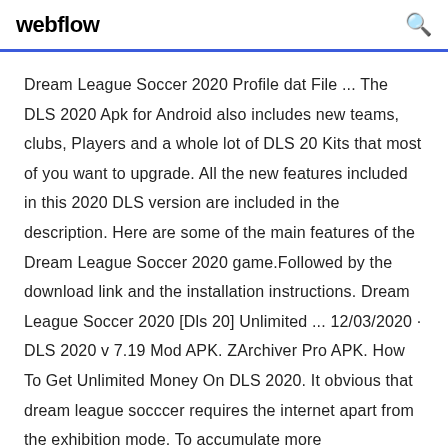webflow
Dream League Soccer 2020 Profile dat File ... The DLS 2020 Apk for Android also includes new teams, clubs, Players and a whole lot of DLS 20 Kits that most of you want to upgrade. All the new features included in this 2020 DLS version are included in the description. Here are some of the main features of the Dream League Soccer 2020 game.Followed by the download link and the installation instructions. Dream League Soccer 2020 [Dls 20] Unlimited ... 12/03/2020 · DLS 2020 v 7.19 Mod APK. ZArchiver Pro APK. How To Get Unlimited Money On DLS 2020. It obvious that dream league socccer requires the internet apart from the exhibition mode. To accumulate more